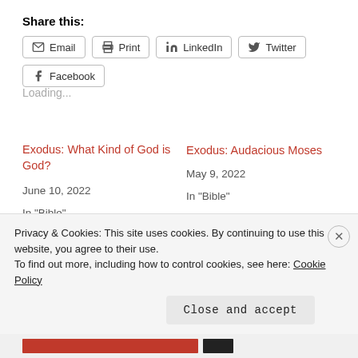Share this:
Email | Print | LinkedIn | Twitter | Facebook
Loading...
Exodus: What Kind of God is God?
June 10, 2022
In "Bible"
Exodus: Audacious Moses
May 9, 2022
In "Bible"
Hero's Journey or Exodus? Part 2
Privacy & Cookies: This site uses cookies. By continuing to use this website, you agree to their use.
To find out more, including how to control cookies, see here: Cookie Policy
Close and accept